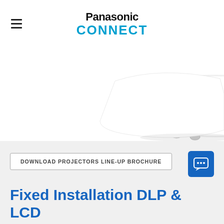Panasonic CONNECT
[Figure (photo): White Panasonic projector shown at an angle, partially cropped, on a white background. The projector is sleek with a circular lens cap visible.]
DOWNLOAD PROJECTORS LINE-UP BROCHURE
Fixed Installation DLP & LCD Projectors